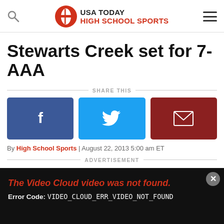USA TODAY HIGH SCHOOL SPORTS
Stewarts Creek set for 7-AAA
SHARE THIS
[Figure (infographic): Share buttons: Facebook (blue), Twitter (cyan), Email (dark red)]
By High School Sports | August 22, 2013 5:00 am ET
ADVERTISEMENT
[Figure (screenshot): Video player showing error: The Video Cloud video was not found. Error Code: VIDEO_CLOUD_ERR_VIDEO_NOT_FOUND]